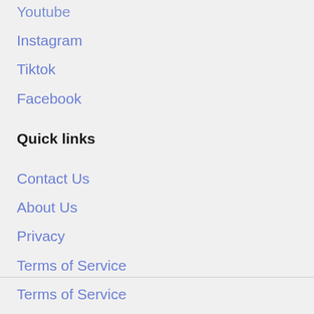Youtube
Instagram
Tiktok
Facebook
Quick links
Contact Us
About Us
Privacy
Terms of Service
Terms of Service
Refund policy